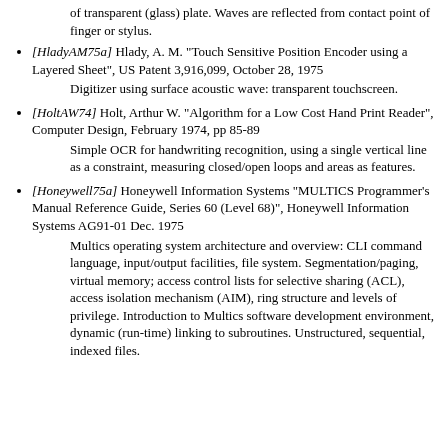of transparent (glass) plate. Waves are reflected from contact point of finger or stylus.
[HladyAM75a] Hlady, A. M. "Touch Sensitive Position Encoder using a Layered Sheet", US Patent 3,916,099, October 28, 1975
    Digitizer using surface acoustic wave: transparent touchscreen.
[HoltAW74] Holt, Arthur W. "Algorithm for a Low Cost Hand Print Reader", Computer Design, February 1974, pp 85-89
    Simple OCR for handwriting recognition, using a single vertical line as a constraint, measuring closed/open loops and areas as features.
[Honeywell75a] Honeywell Information Systems "MULTICS Programmer's Manual Reference Guide, Series 60 (Level 68)", Honeywell Information Systems AG91-01 Dec. 1975
    Multics operating system architecture and overview: CLI command language, input/output facilities, file system. Segmentation/paging, virtual memory; access control lists for selective sharing (ACL), access isolation mechanism (AIM), ring structure and levels of privilege. Introduction to Multics software development environment, dynamic (run-time) linking to subroutines. Unstructured, sequential, indexed files.